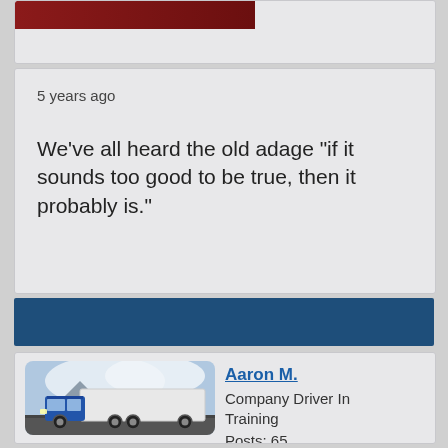[Figure (screenshot): Partial top card with dark red/maroon image banner at top]
5 years ago
We've all heard the old adage "if it sounds too good to be true, then it probably is."
[Figure (photo): Blue semi-truck (Kenworth) with white trailer driving on highway with mountains in background]
Aaron M.
Company Driver In Training
Posts: 65